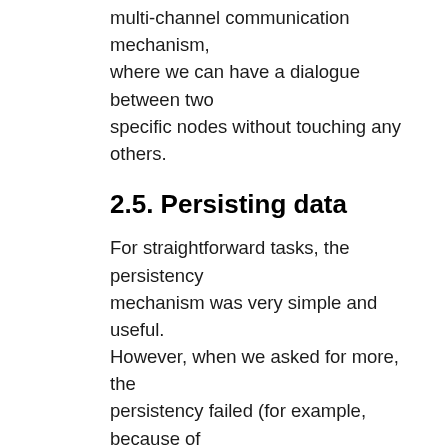multi-channel communication mechanism, where we can have a dialogue between two specific nodes without touching any others.
2.5. Persisting data
For straightforward tasks, the persistency mechanism was very simple and useful. However, when we asked for more, the persistency failed (for example, because of concurrency). Multiple processes were attempting to write at the same time but could not save because of the request overload.
Our solution was to implement a “listener”: each time something new appears in the memory, we put it aside until we have enough of them, then save them all at once. So, instead of doing multiple saving processes (each of them with “get_database?”/”is it active?”/”is there enough